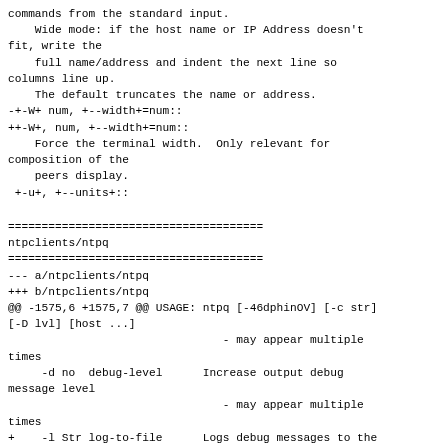commands from the standard input.
    Wide mode: if the host name or IP Address doesn't fit, write the
    full name/address and indent the next line so columns line up.
    The default truncates the name or address.
-+-W+ num, +--width+=num::
++-W+, num, +--width+=num::
    Force the terminal width.  Only relevant for composition of the
    peers display.
 +-u+, +--units+::
======================================
ntpclients/ntpq
======================================
--- a/ntpclients/ntpq
+++ b/ntpclients/ntpq
@@ -1575,6 +1575,7 @@ USAGE: ntpq [-46dphinOV] [-c str] [-D lvl] [host ...]
                                - may appear multiple times
     -d no  debug-level      Increase output debug message level
                                - may appear multiple times
+    -l Str log-to-file      Logs debug messages to the provided filename
     -D Int set-debug-level  Set the output debug message